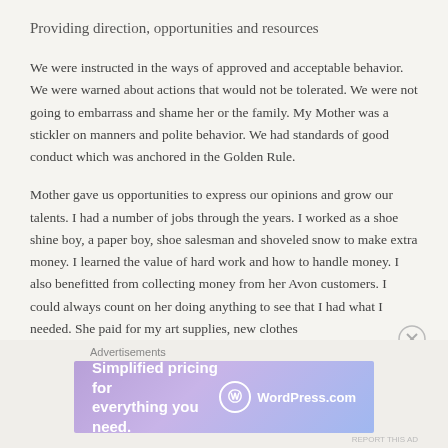Providing direction, opportunities and resources
We were instructed in the ways of approved and acceptable behavior. We were warned about actions that would not be tolerated. We were not going to embarrass and shame her or the family. My Mother was a stickler on manners and polite behavior. We had standards of good conduct which was anchored in the Golden Rule.
Mother gave us opportunities to express our opinions and grow our talents. I had a number of jobs through the years. I worked as a shoe shine boy, a paper boy, shoe salesman and shoveled snow to make extra money. I learned the value of hard work and how to handle money. I also benefitted from collecting money from her Avon customers. I could always count on her doing anything to see that I had what I needed. She paid for my art supplies, new clothes
[Figure (screenshot): WordPress.com advertisement banner with text 'Simplified pricing for everything you need.' and WordPress.com logo on a purple-blue gradient background]